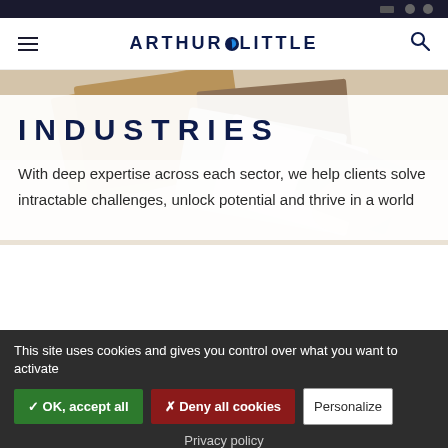Arthur D. Little navigation bar
[Figure (screenshot): Arthur D. Little website header with hamburger menu on left, ARTHUR D LITTLE logo in center, and search icon on right]
[Figure (photo): Hero image showing wood and material samples/swatches on a light background]
INDUSTRIES
With deep expertise across each sector, we help clients solve intractable challenges, unlock potential and thrive in a world
This site uses cookies and gives you control over what you want to activate
✓ OK, accept all
✗ Deny all cookies
Personalize
Privacy policy